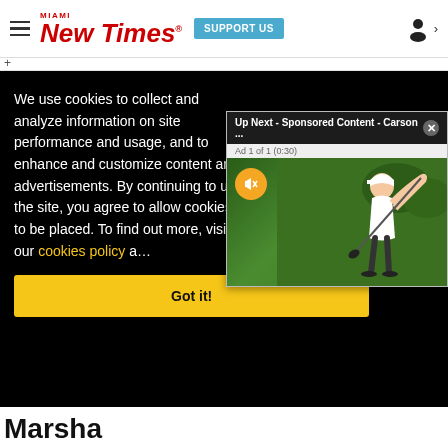Miami New Times | SUPPORT US
We use cookies to collect and analyze information on site performance and usage, and to enhance and customize content and advertisements. By continuing to use the site, you agree to allow cookies to be placed. To find out more, visit our cookies policy a…
[Figure (screenshot): Ad popup overlay: 'Up Next - Sponsored Content - Carson ...' with Ad 1 of 1 (0:30), mute button, and a photo of a golfer swinging a club with a Titleist cap, green tree background]
Got it!
Marsha